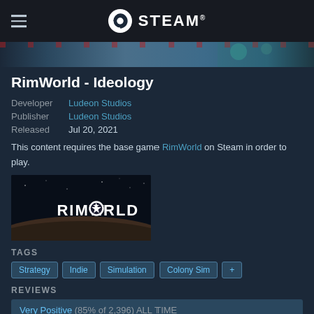STEAM
[Figure (screenshot): Game banner strip with colorful artwork]
RimWorld - Ideology
Developer  Ludeon Studios
Publisher  Ludeon Studios
Released  Jul 20, 2021
This content requires the base game RimWorld on Steam in order to play.
[Figure (logo): RimWorld game logo with planet landscape]
TAGS
Strategy
Indie
Simulation
Colony Sim
+
REVIEWS
Very Positive (85% of 2,396) ALL TIME